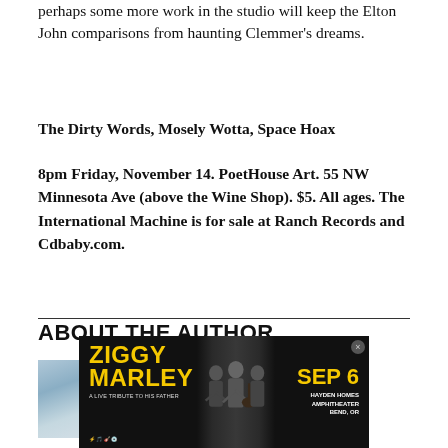perhaps some more work in the studio will keep the Elton John comparisons from haunting Clemmer's dreams.
The Dirty Words, Mosely Wotta, Space Hoax
8pm Friday, November 14. PoetHouse Art. 55 NW Minnesota Ave (above the Wine Shop). $5. All ages. The International Machine is for sale at Ranch Records and Cdbaby.com.
ABOUT THE AUTHOR
[Figure (photo): Author photo placeholder showing sky/clouds background]
The Source Staff
[Figure (photo): Advertisement banner for Ziggy Marley - A Live Tribute to His Father. Sep 6, Hayden Homes Amphitheater, Bend, OR]